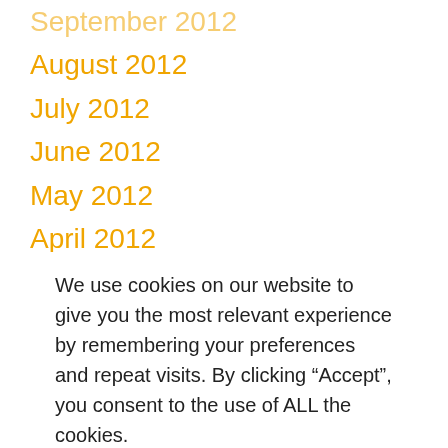September 2012
August 2012
July 2012
June 2012
May 2012
April 2012
March 2012
February 2012
January 2012
December 2011
November 2011
October 2011
September 2011
August 2011
July 2011
We use cookies on our website to give you the most relevant experience by remembering your preferences and repeat visits. By clicking “Accept”, you consent to the use of ALL the cookies. Do not sell my personal information.